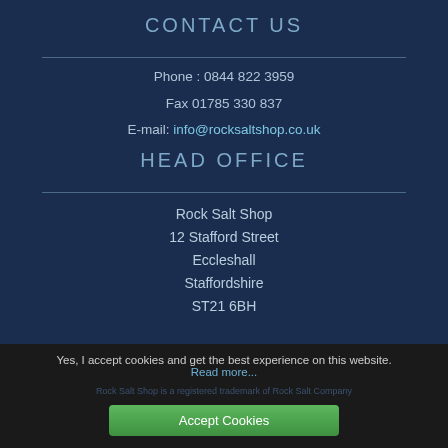CONTACT US
Phone : 0844 822 3959
Fax 01785 330 837
E-mail: info@rocksaltshop.co.uk
HEAD OFFICE
Rock Salt Shop
12 Stafford Street
Eccleshall
Staffordshire
ST21 6BH
Yes, I accept cookies and get the best experience on this website.
Read more...
Accept Cookies